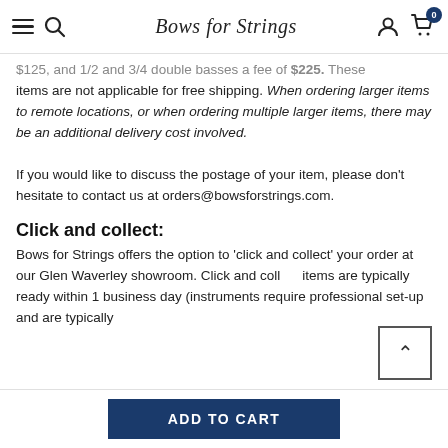Bows for Strings
$125, and 1/2 and 3/4 double basses a fee of $225. These items are not applicable for free shipping. When ordering larger items to remote locations, or when ordering multiple larger items, there may be an additional delivery cost involved.

If you would like to discuss the postage of your item, please don't hesitate to contact us at orders@bowsforstrings.com.
Click and collect:
Bows for Strings offers the option to 'click and collect' your order at our Glen Waverley showroom. Click and collect items are typically ready within 1 business day (instruments require professional set-up and are typically